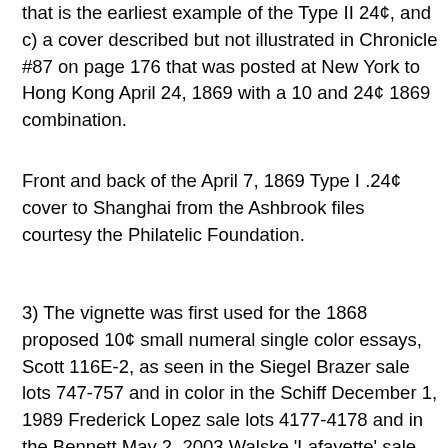that is the earliest example of the Type II 24¢, and c) a cover described but not illustrated in Chronicle #87 on page 176 that was posted at New York to Hong Kong April 24, 1869 with a 10 and 24¢ 1869 combination.
Front and back of the April 7, 1869 Type I .24¢ cover to Shanghai from the Ashbrook files courtesy the Philatelic Foundation.
3) The vignette was first used for the 1868 proposed 10¢ small numeral single color essays, Scott 116E-2, as seen in the Siegel Brazer sale lots 747-757 and in color in the Schiff December 1, 1989 Frederick Lopez sale lots 4177-4178 and in the Bennett May 2, 2003 Walske 'Lafayette' sale lots 1031-1032; by July 22, 1868, it was then brought over to the incomplete small die 24¢ value (Scott 120E1, lot 798 in the Brazer sale or lot 4187 in the Lopez sale). The small 24¢ die was then completed (Scott